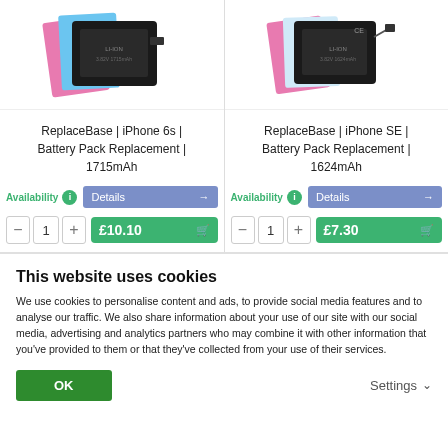[Figure (screenshot): Product card for ReplaceBase iPhone 6s Battery Pack Replacement 1715mAh showing product image with pink and blue strips and black battery, Availability info, Details button, quantity selector, and £10.10 add to cart button]
[Figure (screenshot): Product card for ReplaceBase iPhone SE Battery Pack Replacement 1624mAh showing product image with pink and blue strips and black battery with connector, Availability info, Details button, quantity selector, and £7.30 add to cart button]
This website uses cookies
We use cookies to personalise content and ads, to provide social media features and to analyse our traffic. We also share information about your use of our site with our social media, advertising and analytics partners who may combine it with other information that you've provided to them or that they've collected from your use of their services.
OK
Settings